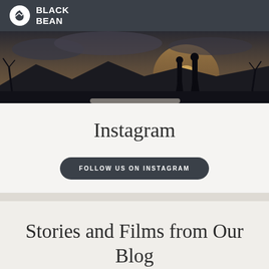BLACK BEAN
[Figure (photo): Silhouette of two people standing on a hilltop at sunset/dusk, with mountains in the background and a dramatic cloudy sky]
Instagram
FOLLOW US ON INSTAGRAM
Stories and Films from Our Blog